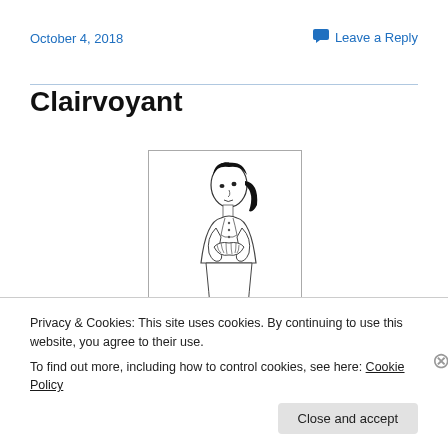October 4, 2018
Leave a Reply
Clairvoyant
[Figure (illustration): Black and white line drawing of a woman with dark hair pulled back, wearing a vest, looking upward with hands crossed at chest.]
Privacy & Cookies: This site uses cookies. By continuing to use this website, you agree to their use.
To find out more, including how to control cookies, see here: Cookie Policy
Close and accept